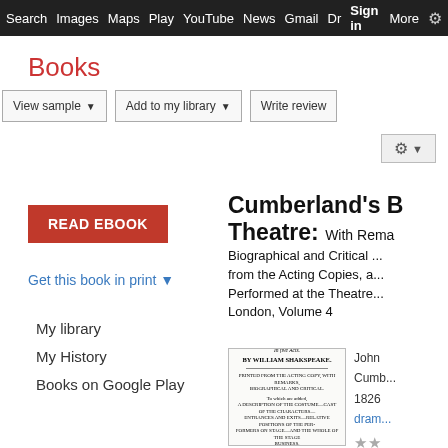Search  Images  Maps  Play  YouTube  News  Gmail  Dr  Sign in  More  ⚙
Books
View sample ▾   Add to my library ▾   Write review   ⚙ ▾
READ EBOOK
Get this book in print ▼
My library
My History
Books on Google Play
Cumberland's British Theatre: With Remarks, Biographical and Critical ... Printed from the Acting Copies, and Regulated from the Performed at the Theatres Royal, London, Volume 4
[Figure (illustration): Book cover thumbnail showing title page of 'King John: A Tragedy, In Five Acts, By William Shakespeare', printed from the Acting Copy with remarks biographical and critical, performed at the Theatres Royal, London.]
John Cumberland 1826 drama ★★ 0 Rev